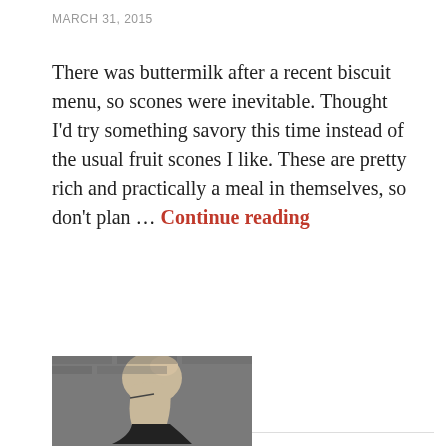MARCH 31, 2015
There was buttermilk after a recent biscuit menu, so scones were inevitable. Thought I'd try something savory this time instead of the usual fruit scones I like. These are pretty rich and practically a meal in themselves, so don't plan … Continue reading
OLDER POSTS
[Figure (photo): Black and white photo of a person with light hair pulled back, wearing glasses, shown in profile against a brick wall background]